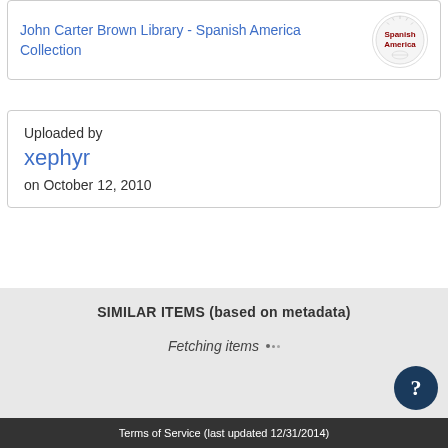John Carter Brown Library - Spanish America Collection
[Figure (logo): Spanish America circular logo/badge with text 'Spanish America']
Uploaded by
xephyr
on October 12, 2010
SIMILAR ITEMS (based on metadata)
Fetching items
Terms of Service (last updated 12/31/2014)